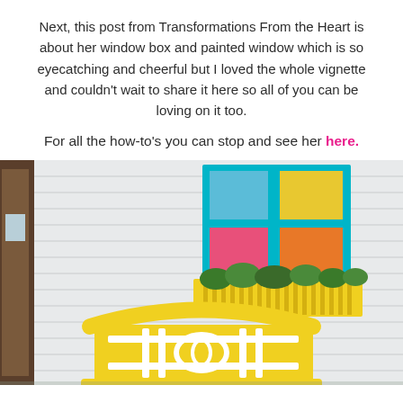Next, this post from Transformations From the Heart is about her window box and painted window which is so eyecatching and cheerful but I loved the whole vignette and couldn't wait to share it here so all of you can be loving on it too.
For all the how-to's you can stop and see her here.
[Figure (photo): Outdoor vignette showing a colorful painted window frame with four panes (blue, yellow, pink, orange) mounted on a white siding wall above a yellow window box planter with greenery. In the foreground is a yellow decorative bench with white geometric lattice pattern. A wooden door is visible on the left and trees on the right.]